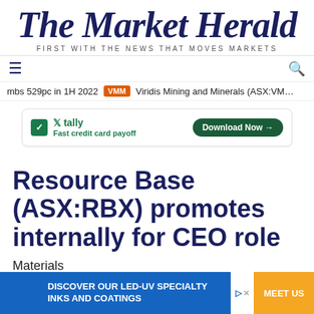The Market Herald — FIRST WITH THE NEWS THAT MOVES MARKETS
mbs 529pc in 1H 2022   VMM   Viridis Mining and Minerals (ASX:VM…
[Figure (other): Tally advertisement banner — Fast credit card payoff, Download Now button]
Resource Base (ASX:RBX) promotes internally for CEO role
Materials
ASX:RBX    MCAP $6.514M
[Figure (other): Bottom advertisement banner — Discover our LED-UV Specialty Inks and Coatings, Meet Us button]